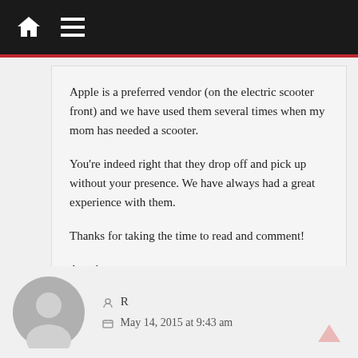Navigation bar with home and menu icons
Apple is a preferred vendor (on the electric scooter front) and we have used them several times when my mom has needed a scooter.

You’re indeed right that they drop off and pick up without your presence. We have always had a great experience with them.

Thanks for taking the time to read and comment!

Angela
Reply
R
May 14, 2015 at 9:43 am